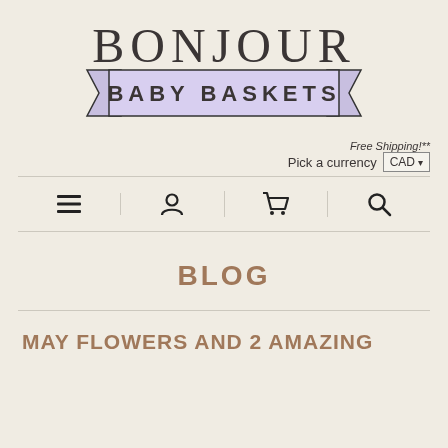[Figure (logo): Bonjour Baby Baskets logo with banner ribbon in lavender]
Free Shipping!**
Pick a currency CAD ▾
[Figure (infographic): Navigation bar with hamburger menu, person/account icon, shopping cart icon, and search icon]
BLOG
MAY FLOWERS AND 2 AMAZING